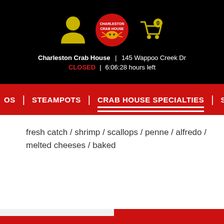[Figure (screenshot): Restaurant header with person icon, Charleston Crab House logo with crab graphic, and shopping cart icon with '0' badge, all on black background]
Charleston Crab House | 145 Wappoo Creek Dr
CLOSED | 6:06:28 hours left
OS | STEAMPOTS | CRAB HOUSE SPECIALTIES | SOUTHERN F
fresh catch / shrimp / scallops / penne / alfredo / melted cheeses / baked
$ 23.95
+ Add Item